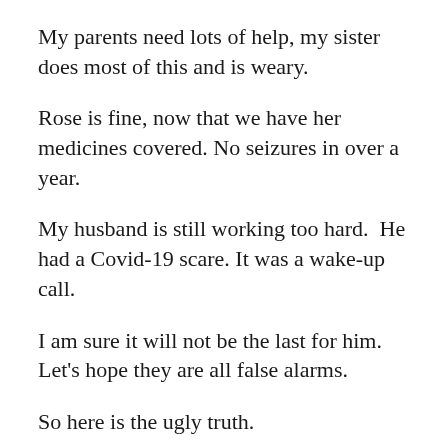My parents need lots of help, my sister does most of this and is weary.
Rose is fine, now that we have her medicines covered. No seizures in over a year.
My husband is still working too hard.  He had a Covid-19 scare. It was a wake-up call.
I am sure it will not be the last for him. Let's hope they are all false alarms.
So here is the ugly truth.
I am a dependent. I do not have my own income or insurance.